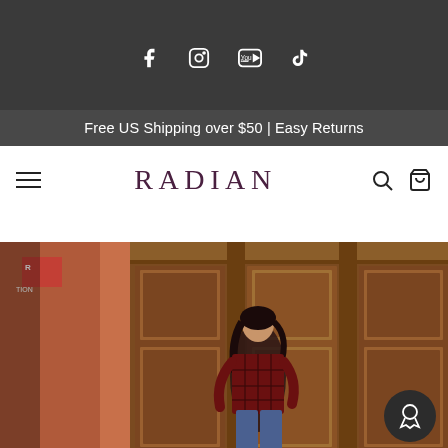[Figure (screenshot): Dark top bar with social media icons: Facebook, Instagram, YouTube, TikTok]
Free US Shipping over $50 | Easy Returns
RADIAN
[Figure (photo): Woman in plaid shirt and jeans standing in front of ornate wooden doors on a city street. A circular dark reward/loyalty icon is overlaid in the bottom right corner.]